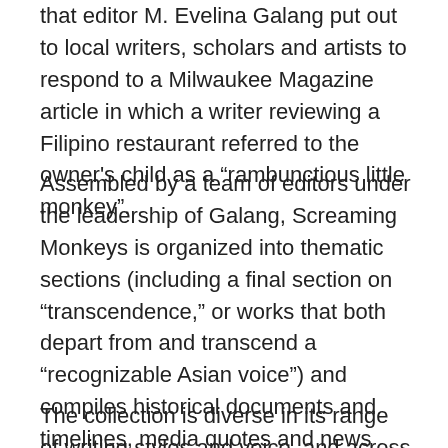that editor M. Evelina Galang put out to local writers, scholars and artists to respond to a Milwaukee Magazine article in which a writer reviewing a Filipino restaurant referred to the owner's child as a “rambunctious little monkey”.
Assembled by a team of editors under the leadership of Galang, Screaming Monkeys is organized into thematic sections (including a final section on “transcendence,” or works that both depart from and transcend a “recognizable Asian voice”) and compiles historical documents and timelines, media quotes and news headlines alongside fiction, non-fiction, poetry, art and commercial images of Asians as represented by mainstream media.
The collection is diverse in its range of writing styles and voice, and across generations, pairing